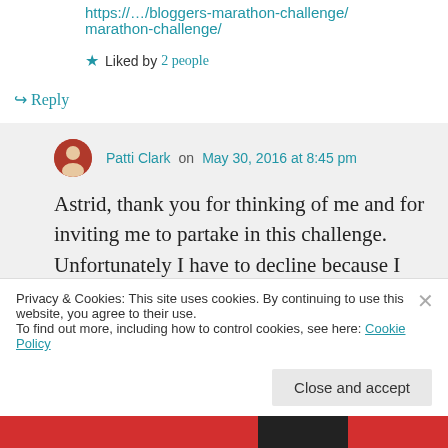https://…/bloggers-marathon-challenge/
★ Liked by 2 people
↪ Reply
Patti Clark on May 30, 2016 at 8:45 pm
Astrid, thank you for thinking of me and for inviting me to partake in this challenge. Unfortunately I have to decline because I
Privacy & Cookies: This site uses cookies. By continuing to use this website, you agree to their use.
To find out more, including how to control cookies, see here: Cookie Policy
Close and accept